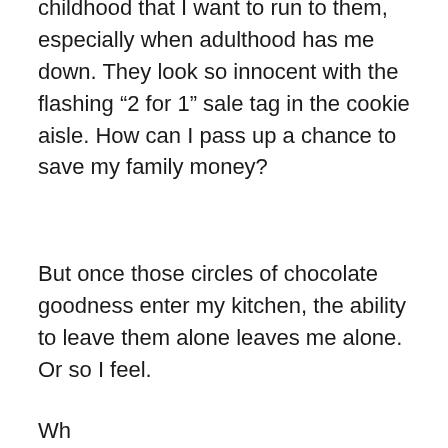childhood that I want to run to them, especially when adulthood has me down. They look so innocent with the flashing “2 for 1” sale tag in the cookie aisle. How can I pass up a chance to save my family money?
But once those circles of chocolate goodness enter my kitchen, the ability to leave them alone leaves me alone. Or so I feel.
Wh...